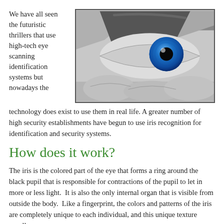We have all seen the futuristic thrillers that use high-tech eye scanning identification systems but nowadays the technology does exist to use them in real life. A greater number of high security establishments have begun to use iris recognition for identification and security systems.
[Figure (photo): Close-up black and white photo of a human eye with a vivid blue iris, framed by fingers pulling the eyelids open]
How does it work?
The iris is the colored part of the eye that forms a ring around the black pupil that is responsible for contractions of the pupil to let in more or less light.  It is also the only internal organ that is visible from outside the body.  Like a fingerprint, the colors and patterns of the iris are completely unique to each individual, and this unique texture usually